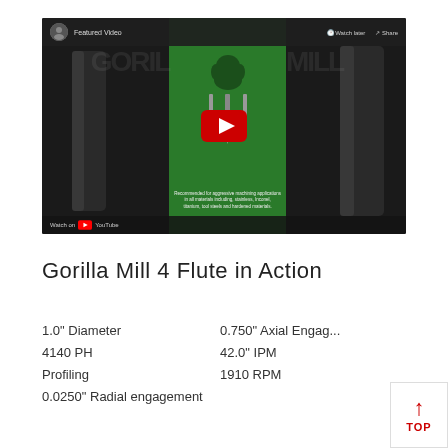[Figure (screenshot): YouTube embedded video thumbnail showing Gorilla Mill 4-flute end mills on a green and dark background with a red play button. Top bar shows 'Featured Video' with Watch later and Share options. Bottom shows 'Watch on YouTube'.]
Gorilla Mill 4 Flute in Action
1.0" Diameter
4140 PH
Profiling
0.0250" Radial engagement
0.750" Axial Engag...
42.0" IPM
1910 RPM